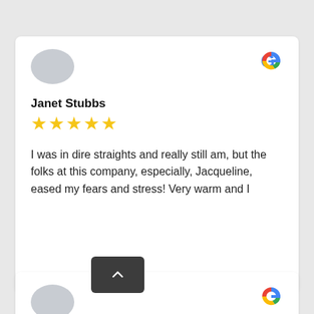[Figure (other): Review card for Janet Stubbs with gray avatar circle, 5 gold stars, Google logo, and review text: 'I was in dire straights and really still am, but the folks at this company, especially, Jacqueline, eased my fears and stress! Very warm and I']
[Figure (other): Partial review card for D Hanes with gray avatar circle, back-to-top button, Google logo, and 5 gold stars]